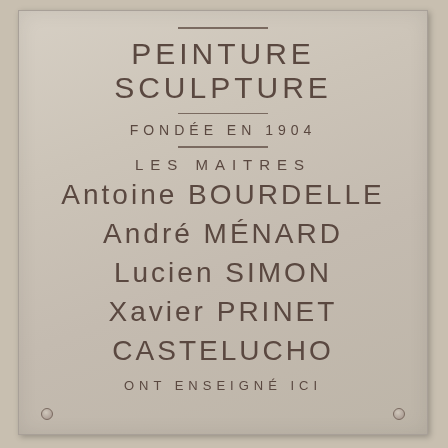PEINTURE SCULPTURE
FONDÉE EN 1904
LES MAITRES
Antoine BOURDELLE
André MÉNARD
Lucien SIMON
Xavier PRINET
CASTELUCHO
ONT ENSEIGNÉ ICI